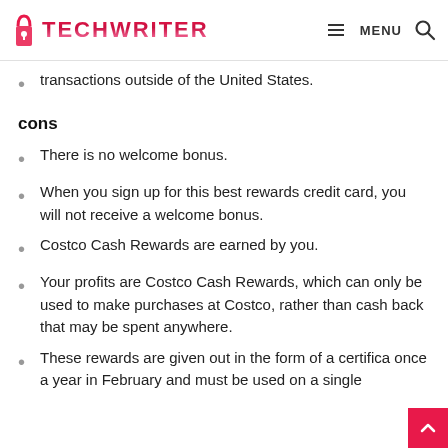TECHWRITER — MENU
transactions outside of the United States.
cons
There is no welcome bonus.
When you sign up for this best rewards credit card, you will not receive a welcome bonus.
Costco Cash Rewards are earned by you.
Your profits are Costco Cash Rewards, which can only be used to make purchases at Costco, rather than cash back that may be spent anywhere.
These rewards are given out in the form of a certificate once a year in February and must be used on a single